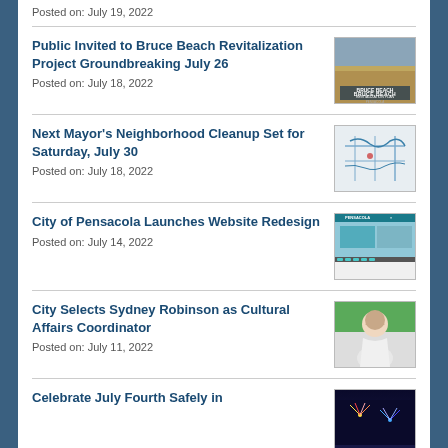Posted on: July 19, 2022
Public Invited to Bruce Beach Revitalization Project Groundbreaking July 26
Posted on: July 18, 2022
[Figure (photo): Bruce Beach aerial or signage photo]
Next Mayor's Neighborhood Cleanup Set for Saturday, July 30
Posted on: July 18, 2022
[Figure (map): Map of neighborhood cleanup area]
City of Pensacola Launches Website Redesign
Posted on: July 14, 2022
[Figure (screenshot): Screenshot of new City of Pensacola website]
City Selects Sydney Robinson as Cultural Affairs Coordinator
Posted on: July 11, 2022
[Figure (photo): Portrait photo of Sydney Robinson]
Celebrate July Fourth Safely in